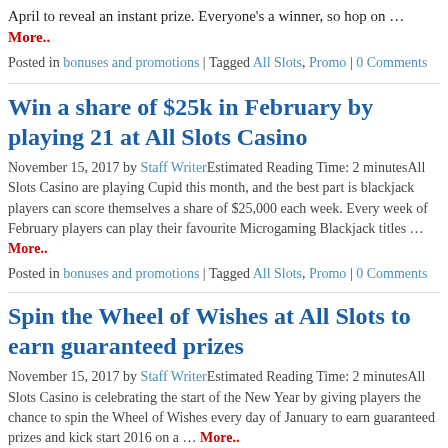April to reveal an instant prize. Everyone's a winner, so hop on … More..
Posted in bonuses and promotions | Tagged All Slots, Promo | 0 Comments
Win a share of $25k in February by playing 21 at All Slots Casino
November 15, 2017 by Staff Writer Estimated Reading Time: 2 minutes All Slots Casino are playing Cupid this month, and the best part is blackjack players can score themselves a share of $25,000 each week. Every week of February players can play their favourite Microgaming Blackjack titles … More..
Posted in bonuses and promotions | Tagged All Slots, Promo | 0 Comments
Spin the Wheel of Wishes at All Slots to earn guaranteed prizes
November 15, 2017 by Staff Writer Estimated Reading Time: 2 minutes All Slots Casino is celebrating the start of the New Year by giving players the chance to spin the Wheel of Wishes every day of January to earn guaranteed prizes and kick start 2016 on a … More..
Posted in bonuses and promotions | Tagged All Slots, Promo | 0 Comments
Celebrate & Double Down with Blackjack